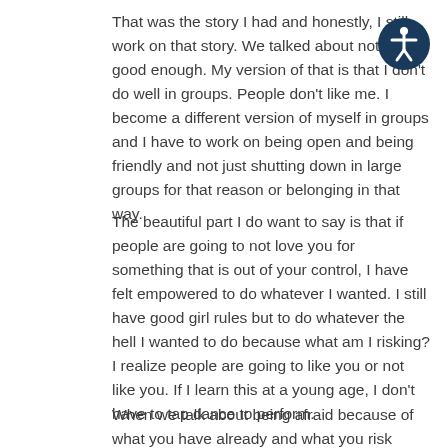That was the story I had and honestly, I still work on that story. We talked about not being good enough. My version of that is that I don't do well in groups. People don't like me. I become a different version of myself in groups and I have to work on being open and being friendly and not just shutting down in large groups for that reason or belonging in that way.
The beautiful part I do want to say is that if people are going to not love you for something that is out of your control, I have felt empowered to do whatever I wanted. I still have good girl rules but to do whatever the hell I wanted to do because what am I risking? I realize people are going to like you or not like you. If I learn this at a young age, I don't have to tap dance to perform.
When we talk about being afraid because of what you have already and what you risk losing when you
[Figure (other): Accessibility icon: a circular dark navy blue button with a white stick figure with arms outstretched, representing accessibility/screen reader toggle]